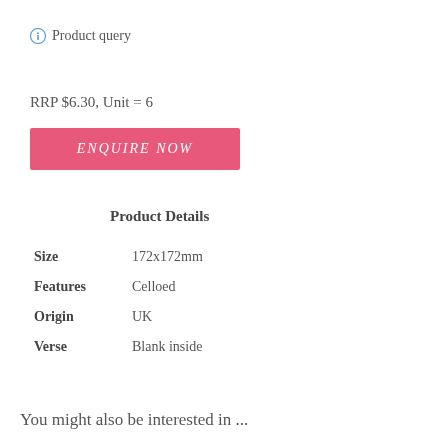Product query
RRP $6.30, Unit = 6
[Figure (other): Pink rectangular button labeled ENQUIRE NOW]
Product Details
|  |  |
| --- | --- |
| Size | 172x172mm |
| Features | Celloed |
| Origin | UK |
| Verse | Blank inside |
You might also be interested in ...